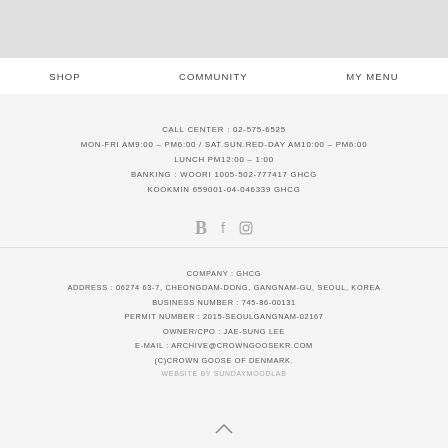SHOP   COMMUNITY   MY MENU
CALL CENTER : 02-575-6525
MON-FRI AM9:00 - PM6:00 / SAT.SUN.RED-DAY AM10:00 - PM6:00
LUNCH PM12:00 - 1:00
BANKING : WOORI 1005-502-777417 GHCG
KOOKMIN 659001-04-046339 GHCG
[Figure (other): Social media icons: B (blog), f (facebook), camera (instagram)]
COMPANY : GHCG
ADDRESS : 06274 63-7, CHEONGDAM-DONG, GANGNAM-GU, SEOUL, KOREA
BUSINESS NUMBER : 745-86-00131
PERMIT NUMBER : 2015-SEOULGANGNAM-02167
OWNER/CPO : JAE-SUNG LEE
E-MAIL : ARCHIVE@CROWNGOOSEKR.COM
(C)CROWN GOOSE OF DENMARK.
WEBSITE BY SUNDAYMOODLAB